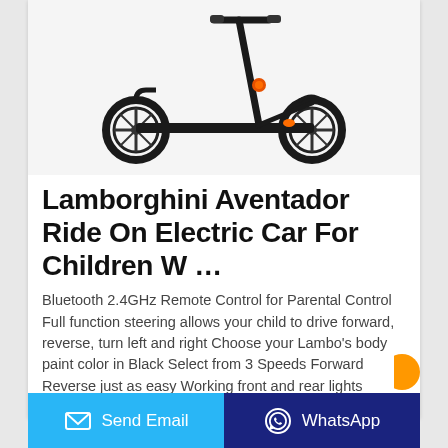[Figure (photo): Black kick scooter / electric scooter with two large wheels, shown on white background]
Lamborghini Aventador Ride On Electric Car For Children W …
Bluetooth 2.4GHz Remote Control for Parental Control Full function steering allows your child to drive forward, reverse, turn left and right Choose your Lambo's body paint color in Black Select from 3 Speeds Forward Reverse just as easy Working front and rear lights Adjustable Seat Belt Working Stereo, MP3 input, Real Engine Noises
Send Email | WhatsApp